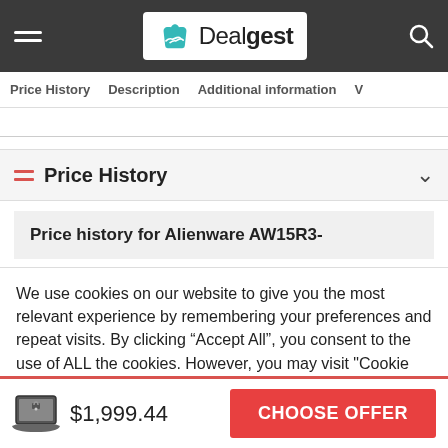Dealgest — navigation bar with hamburger menu, logo, and search icon
Price History | Description | Additional information | V
Price History
Price history for Alienware AW15R3-
We use cookies on our website to give you the most relevant experience by remembering your preferences and repeat visits. By clicking "Accept All", you consent to the use of ALL the cookies. However, you may visit "Cookie Settings" to provide a controlled consent.
$1,999.44  CHOOSE OFFER